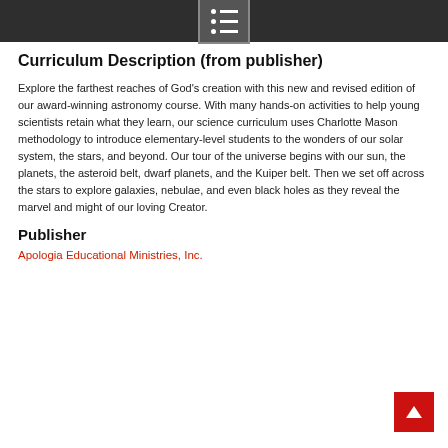Curriculum Description (from publisher)
Explore the farthest reaches of God's creation with this new and revised edition of our award-winning astronomy course. With many hands-on activities to help young scientists retain what they learn, our science curriculum uses Charlotte Mason methodology to introduce elementary-level students to the wonders of our solar system, the stars, and beyond. Our tour of the universe begins with our sun, the planets, the asteroid belt, dwarf planets, and the Kuiper belt. Then we set off across the stars to explore galaxies, nebulae, and even black holes as they reveal the marvel and might of our loving Creator.
Publisher
Apologia Educational Ministries, Inc.